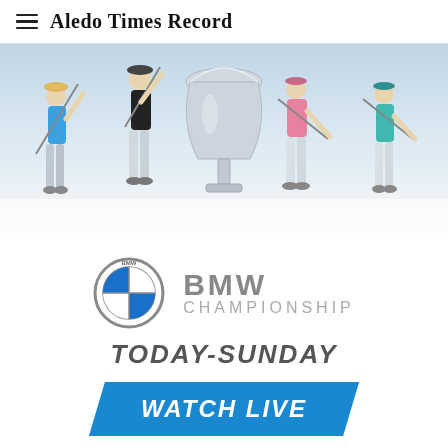≡ Aledo Times Record
[Figure (photo): Four golfers mid-swing arranged around a large silver trophy cup against a light grey/white background. Left golfer in blue shirt, second golfer in black shirt, right-center golfer in pink shirt, far-right golfer in teal shirt.]
[Figure (logo): BMW logo circle with BMW CHAMPIONSHIP text beside it]
TODAY-SUNDAY
WATCH LIVE